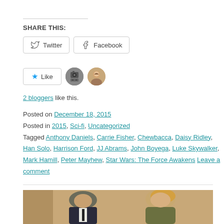SHARE THIS:
[Figure (screenshot): Twitter and Facebook share buttons]
[Figure (screenshot): Like button with two blogger avatars]
2 bloggers like this.
Posted on December 18, 2015
Posted in 2015, Sci-fi, Uncategorized
Tagged Anthony Daniels, Carrie Fisher, Chewbacca, Daisy Ridley, Han Solo, Harrison Ford, JJ Abrams, John Boyega, Luke Skywalker, Mark Hamill, Peter Mayhew, Star Wars: The Force Awakens Leave a comment
[Figure (photo): Two people (man in dark suit with tie and woman in olive coat) walking and smiling]